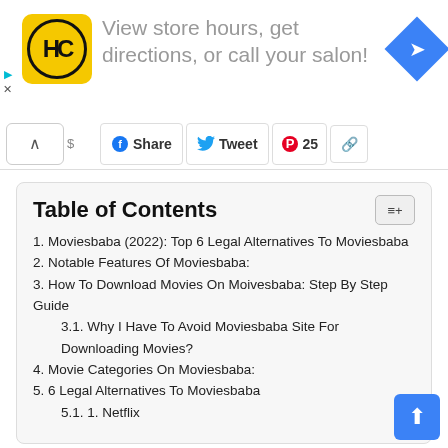[Figure (screenshot): Advertisement banner for a hair salon locator with HC logo in yellow, text 'View store hours, get directions, or call your salon!' and blue diamond navigation icon]
[Figure (screenshot): Social share bar with up chevron, Share button, Tweet button, and a number 25 with Pinterest icon]
Table of Contents
1. Moviesbaba (2022): Top 6 Legal Alternatives To Moviesbaba
2. Notable Features Of Moviesbaba:
3. How To Download Movies On Moivesbaba: Step By Step Guide
3.1. Why I Have To Avoid Moviesbaba Site For Downloading Movies?
4. Movie Categories On Moviesbaba:
5. 6 Legal Alternatives To Moviesbaba
5.1. 1. Netflix